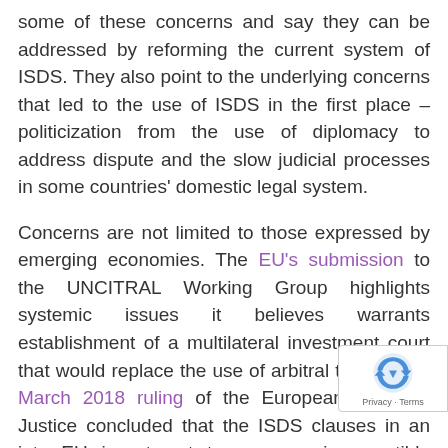some of these concerns and say they can be addressed by reforming the current system of ISDS. They also point to the underlying concerns that led to the use of ISDS in the first place – politicization from the use of diplomacy to address dispute and the slow judicial processes in some countries' domestic legal system.
Concerns are not limited to those expressed by emerging economies. The EU's submission to the UNCITRAL Working Group highlights systemic issues it believes warrants establishment of a multilateral investment court that would replace the use of arbitral tribunals. A March 2018 ruling of the European Court of Justice concluded that the ISDS clauses in an intra-EU investment tre were incompatible with EU law.
The Trump Administration has also inserted its